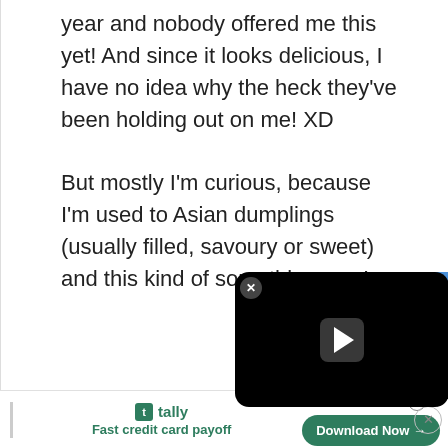year and nobody offered me this yet! And since it looks delicious, I have no idea why the heck they've been holding out on me! XD

But mostly I'm curious, because I'm used to Asian dumplings (usually filled, savoury or sweet) and this kind of something new!
[Figure (screenshot): Embedded video player overlay showing a black rounded rectangle with a play button and close (x) button in the top-left corner.]
tally Fast credit card payoff   Download Now →